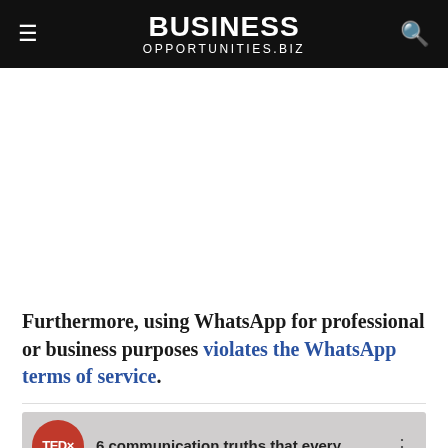BUSINESS OPPORTUNITIES.BIZ
[Figure (other): Advertisement placeholder (blank white space)]
Furthermore, using WhatsApp for professional or business purposes violates the WhatsApp terms of service.
[Figure (screenshot): Preview thumbnail of a TED talk video with text '6 communication truths that every']